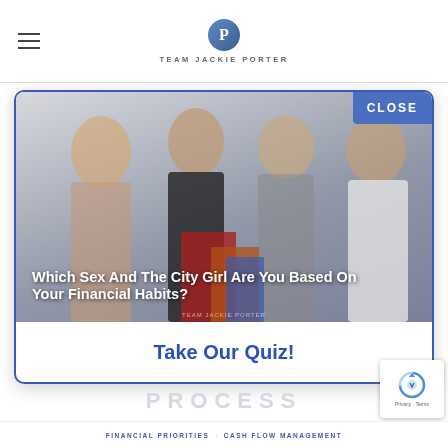TEAM JACKIE PORTER
[Figure (screenshot): Modal popup showing four women from Sex and the City with overlaid white bold text 'Which Sex And The City Girl Are You Based On Your Financial Habits?' and a CLOSE button in blue in top-right corner]
Take Our Quiz!
PROCESS
[Figure (logo): reCAPTCHA badge with circular arrow icon]
FINANCIAL PRIORITIES   CASH FLOW MANAGEMENT